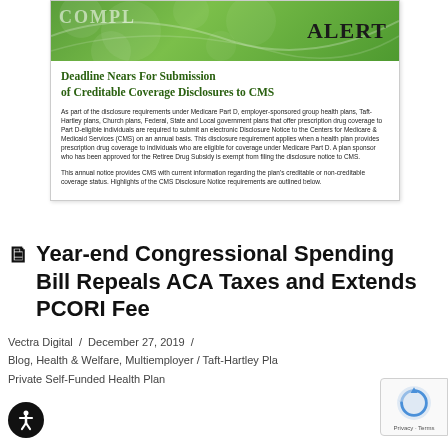[Figure (other): Green compliance alert banner with decorative circles and the word ALERT in bold serif text]
Deadline Nears For Submission of Creditable Coverage Disclosures to CMS
As part of the disclosure requirements under Medicare Part D, employer-sponsored group health plans, Taft-Hartley plans, Church plans, Federal, State and Local government plans that offer prescription drug coverage to Part D-eligible individuals are required to submit an electronic Disclosure Notice to the Centers for Medicare & Medicaid Services (CMS) on an annual basis. This disclosure requirement applies when a health plan provides prescription drug coverage to individuals who are eligible for coverage under Medicare Part D. A plan sponsor who has been approved for the Retiree Drug Subsidy is exempt from filing the disclosure notice to CMS.
This annual notice provides CMS with current information regarding the plan's creditable or non-creditable coverage status. Highlights of the CMS Disclosure Notice requirements are outlined below.
Year-end Congressional Spending Bill Repeals ACA Taxes and Extends PCORI Fee
Vectra Digital / December 27, 2019 / Blog, Health & Welfare, Multiemployer / Taft-Hartley Plans, Private Self-Funded Health Plan